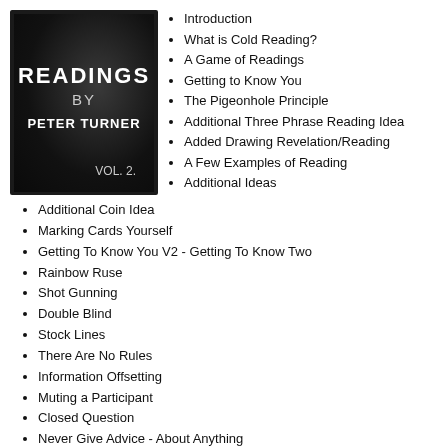[Figure (illustration): Book cover for 'Readings by Peter Turner Vol. 2' — dark textured background with white bold text]
Introduction
What is Cold Reading?
A Game of Readings
Getting to Know You
The Pigeonhole Principle
Additional Three Phrase Reading Idea
Added Drawing Revelation/Reading
A Few Examples of Reading
Additional Ideas
Additional Coin Idea
Marking Cards Yourself
Getting To Know You V2 - Getting To Know Two
Rainbow Ruse
Shot Gunning
Double Blind
Stock Lines
There Are No Rules
Information Offsetting
Muting a Participant
Closed Question
Never Give Advice - About Anything
Muting the Participant
The Letter
Star Signs, Zodiacs, and Horoscopes
Star Sign Divination
How to Create...